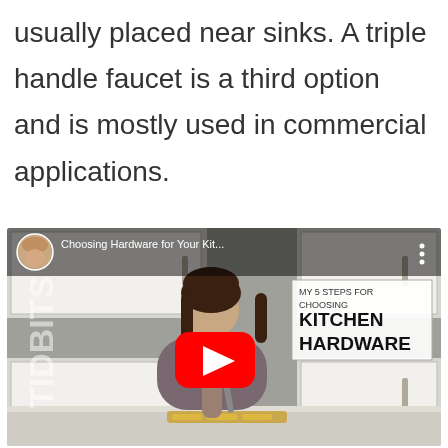usually placed near sinks. A triple handle faucet is a third option and is mostly used in commercial applications.
[Figure (screenshot): YouTube video thumbnail showing a woman seated at a white counter with kitchen cabinets behind her, holding hardware. Title reads 'Choosing Hardware for Your Kit...' with an inset box showing 'MY 5 STEPS FOR CHOOSING KITCHEN HARDWARE'. TIDBITS watermark on the left side. Red YouTube play button in the center.]